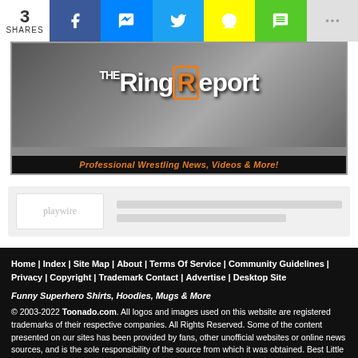3 SHARES | Facebook | Messenger | Twitter | Snapchat | SMS | More
[Figure (photo): The Ring Report banner — Professional Wrestling News, Videos & More! with logo on dark background]
[Figure (other): Playwire advertisement placeholder block with logo and loading bars]
Home | Index | Site Map | About | Terms Of Service | Community Guidelines | Privacy | Copyright | Trademark Contact | Advertise | Desktop Site

Funny Superhero Shirts, Hoodies, Mugs & More

© 2003-2022 Toonado.com. All logos and images used on this website are registered trademarks of their respective companies. All Rights Reserved. Some of the content presented on our sites has been provided by fans, other unofficial websites or online news sources, and is the sole responsibility of the source from which it was obtained. Best Little Sites is not liable for inaccuracies, errors, or omissions found herein. For removal of copyrighted images, trademarks, or other issues. Contact Us.